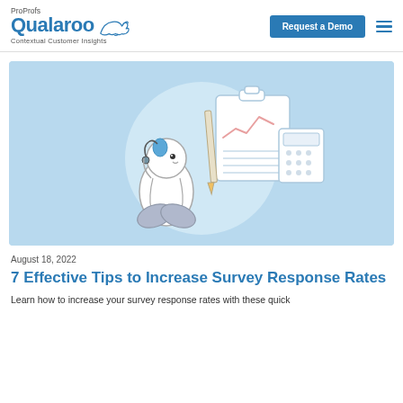ProProfs Qualaroo — Contextual Customer Insights | Request a Demo
[Figure (illustration): Light blue banner illustration showing a cartoon seal/penguin-like character sitting and holding a pencil, with a clipboard showing a line chart and a calculator in the background, set against a circular lighter blue backdrop.]
August 18, 2022
7 Effective Tips to Increase Survey Response Rates
Learn how to increase your survey response rates with these quick